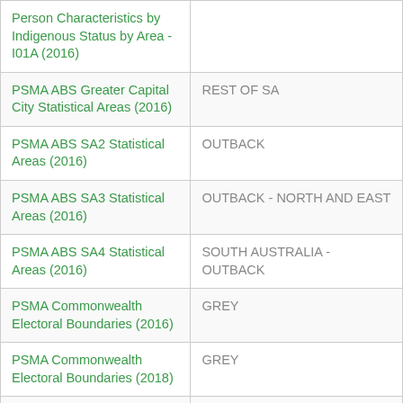| Dataset | Region |
| --- | --- |
| Person Characteristics by Indigenous Status by Area - I01A (2016) |  |
| PSMA ABS Greater Capital City Statistical Areas (2016) | REST OF SA |
| PSMA ABS SA2 Statistical Areas (2016) | OUTBACK |
| PSMA ABS SA3 Statistical Areas (2016) | OUTBACK - NORTH AND EAST |
| PSMA ABS SA4 Statistical Areas (2016) | SOUTH AUSTRALIA - OUTBACK |
| PSMA Commonwealth Electoral Boundaries (2016) | GREY |
| PSMA Commonwealth Electoral Boundaries (2018) | GREY |
| PSMA Indigenous Areas (2016) | EYRE |
| PSMA Indigenous Locations | LAKE EYRE - LAKE TORRENS |